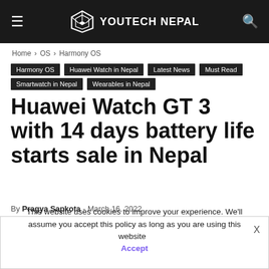YOUTECH NEPAL
Home › OS › Harmony OS
Harmony OS | Huawei Watch in Nepal | Latest News | Must Read | Smartwatch in Nepal | Wearables in Nepal
Huawei Watch GT 3 with 14 days battery life starts sale in Nepal
By Pragya Sapkota - March 16, 2022
[Figure (other): Social share buttons: Facebook, Twitter, Pinterest, WhatsApp]
This website uses cookies to improve your experience. We'll assume you accept this policy as long as you are using this website  Accept  View Policy